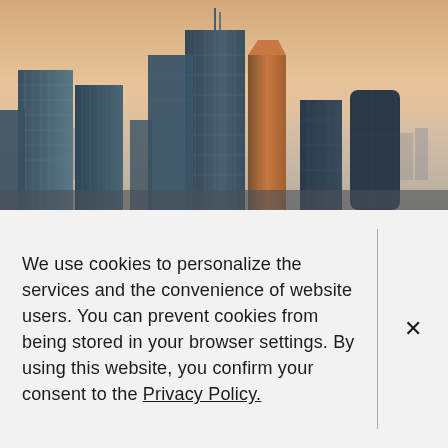[Figure (photo): Aerial cityscape photograph of tall skyscrapers with glass facades rising above a misty urban sprawl at dusk, with a warm orange-pink sky gradient]
We use cookies to personalize the services and the convenience of website users. You can prevent cookies from being stored in your browser settings. By using this website, you confirm your consent to the Privacy Policy.